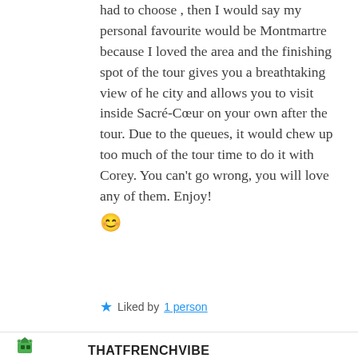had to choose , then I would say my personal favourite would be Montmartre because I loved the area and the finishing spot of the tour gives you a breathtaking view of he city and allows you to visit inside Sacré-Cœur on your own after the tour. Due to the queues, it would chew up too much of the tour time to do it with Corey. You can't go wrong, you will love any of them. Enjoy! 😊
★ Liked by 1 person
THATFRENCHVIBE